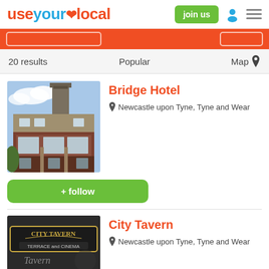useyourlocal
[Figure (screenshot): Orange search bar strip with input fields]
20 results   Popular   Map
Bridge Hotel
Newcastle upon Tyne, Tyne and Wear
[Figure (photo): Photo of Bridge Hotel building, a Victorian brick building with tower]
+ follow
City Tavern
Newcastle upon Tyne, Tyne and Wear
[Figure (photo): Photo of City Tavern sign, showing City Tavern Terrace and Cinema signage]